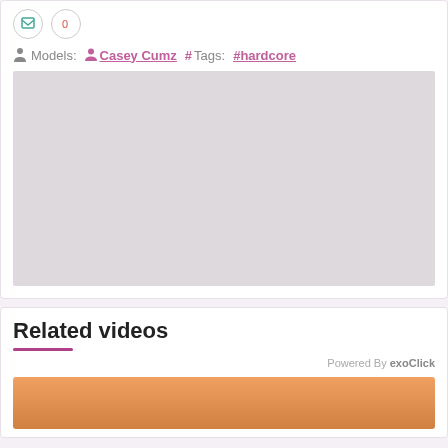Models: Casey Cumz   #Tags: #hardcore
[Figure (other): Grey placeholder rectangle representing a video player area]
Related videos
Powered By exoClick
[Figure (photo): Thumbnail strip partially visible at the bottom of the page]